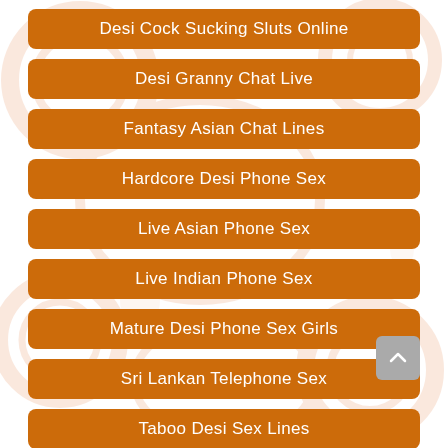Desi Cock Sucking Sluts Online
Desi Granny Chat Live
Fantasy Asian Chat Lines
Hardcore Desi Phone Sex
Live Asian Phone Sex
Live Indian Phone Sex
Mature Desi Phone Sex Girls
Sri Lankan Telephone Sex
Taboo Desi Sex Lines